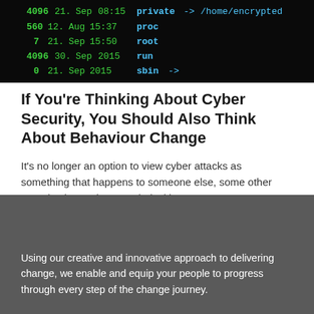[Figure (screenshot): Dark terminal/command line screenshot showing green and cyan text with file directory listing, including entries like 'private -> /home/encrypted', 'proc', 'root', 'run', 'sbin' and numbered log entries with dates in Aug/Sep]
If You're Thinking About Cyber Security, You Should Also Think About Behaviour Change
It's no longer an option to view cyber attacks as something that happens to someone else, some other organisation, or just a technical issue  It's now...
Read more
Using our creative and innovative approach to delivering change, we enable and equip your people to progress through every step of the change journey.